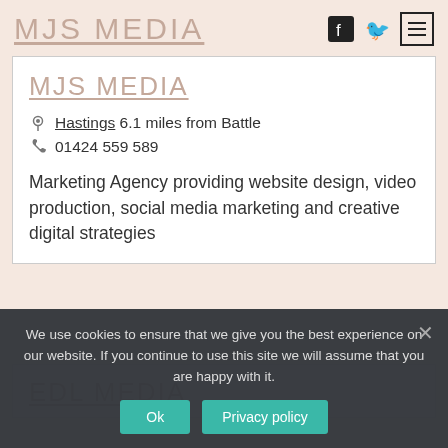MJS MEDIA
Hastings 6.1 miles from Battle
01424 559 589
Marketing Agency providing website design, video production, social media marketing and creative digital strategies
EDL MEDIA
We use cookies to ensure that we give you the best experience on our website. If you continue to use this site we will assume that you are happy with it.